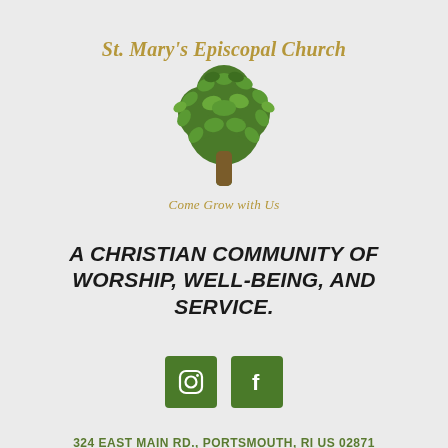[Figure (logo): St. Mary's Episcopal Church logo with a green tree made of leaves above a brown trunk, with church name in italic gold/tan script and tagline 'Come Grow with Us' below]
A CHRISTIAN COMMUNITY OF WORSHIP, WELL-BEING, AND SERVICE.
[Figure (infographic): Two green square social media icons: Instagram (camera icon) and Facebook (f icon)]
324 EAST MAIN RD., PORTSMOUTH, RI US 02871
MAP IT